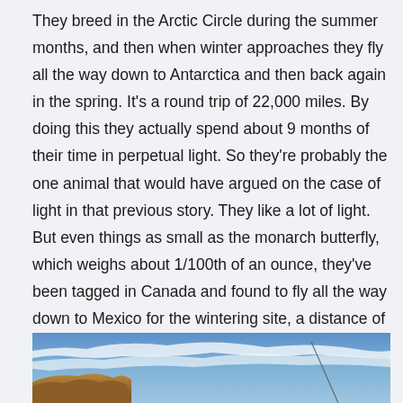They breed in the Arctic Circle during the summer months, and then when winter approaches they fly all the way down to Antarctica and then back again in the spring. It's a round trip of 22,000 miles. By doing this they actually spend about 9 months of their time in perpetual light. So they're probably the one animal that would have argued on the case of light in that previous story. They like a lot of light. But even things as small as the monarch butterfly, which weighs about 1/100th of an ounce, they've been tagged in Canada and found to fly all the way down to Mexico for the wintering site, a distance of about 2,000 miles.
[Figure (photo): Outdoor landscape photo showing a blue sky with wispy white clouds and what appears to be rocky terrain or a structure at the bottom left, with a thin diagonal line (possibly a pole or antenna) visible.]